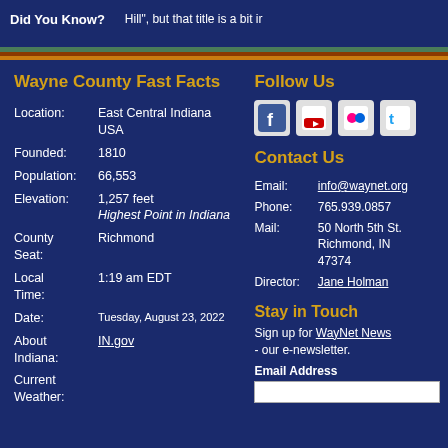Did You Know? ... Hill, but that title is a bit in...
Wayne County Fast Facts
Location: East Central Indiana USA
Founded: 1810
Population: 66,553
Elevation: 1,257 feet Highest Point in Indiana
County Seat: Richmond
Local Time: 1:19 am EDT
Date: Tuesday, August 23, 2022
About Indiana: IN.gov
Current Weather:
Follow Us
[Figure (infographic): Social media icons: Facebook, YouTube, Flickr, Twitter]
Contact Us
Email: info@waynet.org
Phone: 765.939.0857
Mail: 50 North 5th St. Richmond, IN 47374
Director: Jane Holman
Stay in Touch
Sign up for WayNet News - our e-newsletter.
Email Address